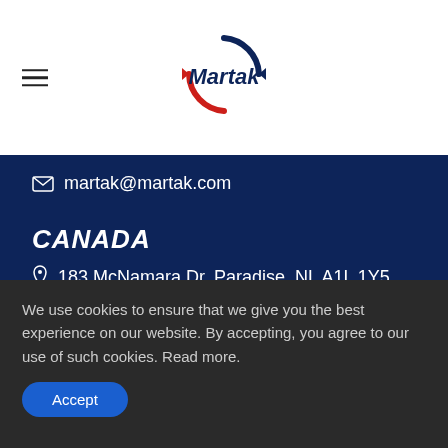Martak
martak@martak.com
CANADA
183 McNamara Dr, Paradise, NL A1L 1Y5, Canada.
Tel: (+1) (709) 747-7001
martak@martak.com
We use cookies to ensure that we give you the best experience on our website. By accepting, you agree to our use of such cookies. Read more.
Accept